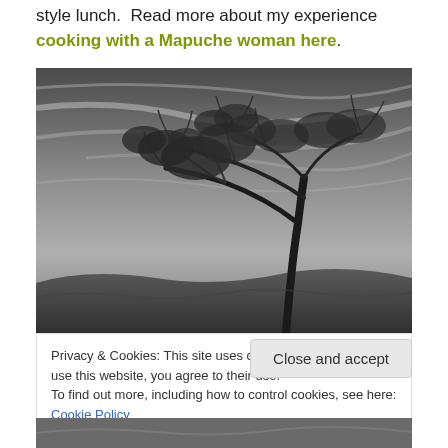style lunch.  Read more about my experience cooking with a Mapuche woman here.
[Figure (photo): Black and white photograph of a lone windswept tree against a dramatic cloudy sky]
Privacy & Cookies: This site uses cookies. By continuing to use this website, you agree to their use.
To find out more, including how to control cookies, see here: Cookie Policy
Close and accept
[Figure (photo): Partial black and white photograph at bottom of page]